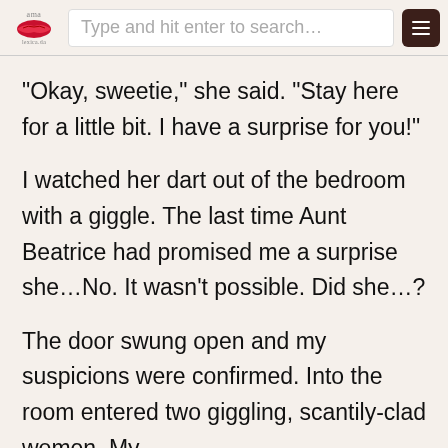Type and hit enter to search...
“Okay, sweetie,” she said. “Stay here for a little bit. I have a surprise for you!”
I watched her dart out of the bedroom with a giggle. The last time Aunt Beatrice had promised me a surprise she…No. It wasn’t possible. Did she…?
The door swung open and my suspicions were confirmed. Into the room entered two giggling, scantily-clad women. My